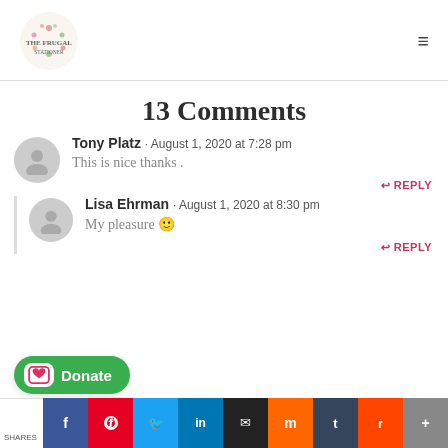The Frugal Stationer [logo] [hamburger menu]
13 Comments
Tony Platz · August 1, 2020 at 7:28 pm
This is nice thanks .
REPLY
Lisa Ehrman · August 1, 2020 at 8:30 pm
My pleasure 🙂
REPLY
SHARES | [social share buttons: Facebook, Pinterest, Twitter, LinkedIn, Email, Mix, Tumblr, Reddit, More] | Donate